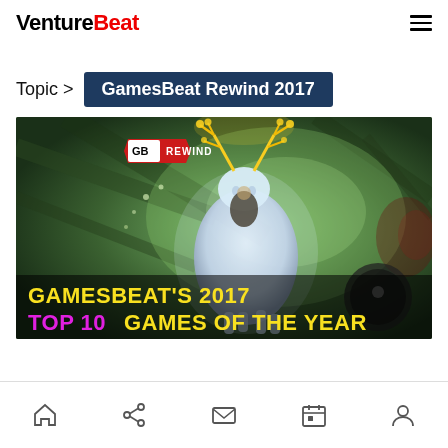VentureBeat
Topic > GamesBeat Rewind 2017
[Figure (screenshot): GamesBeat Rewind 2017 thumbnail showing a character riding a glowing white deer-like creature in a green atmospheric scene, with 'GB REWIND' badge in top-left and text 'GAMESBEAT'S 2017 TOP 10 GAMES OF THE YEAR' at the bottom.]
Home | Share | Mail | Calendar | Profile